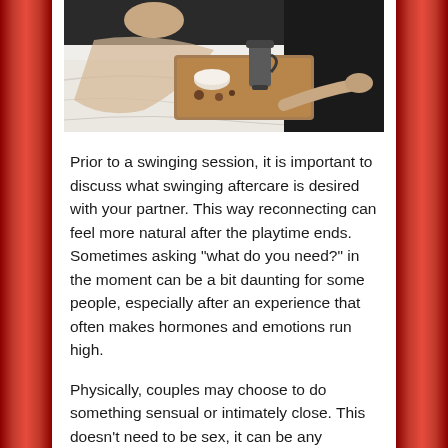[Figure (photo): Overhead view of a person on a white bed with a wooden breakfast tray holding a thermos/carafe and dishes]
Prior to a swinging session, it is important to discuss what swinging aftercare is desired with your partner. This way reconnecting can feel more natural after the playtime ends. Sometimes asking “what do you need?” in the moment can be a bit daunting for some people, especially after an experience that often makes hormones and emotions run high.
Physically, couples may choose to do something sensual or intimately close. This doesn’t need to be sex, it can be any physical action to re-establish closeness. It could be kissing, cuddling, sleeping together, massages, or whatever might works for